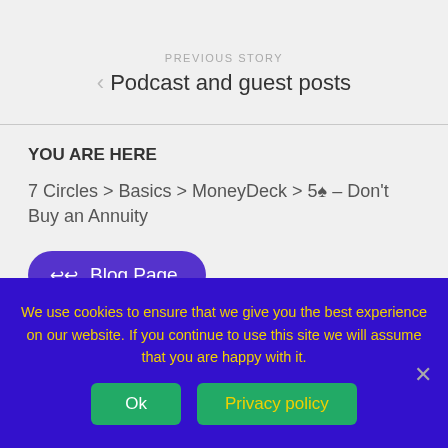PREVIOUS STORY
< Podcast and guest posts
YOU ARE HERE
7 Circles > Basics > MoneyDeck > 5♠ – Don't Buy an Annuity
↩ Blog Page
We use cookies to ensure that we give you the best experience on our website. If you continue to use this site we will assume that you are happy with it.
Ok
Privacy policy